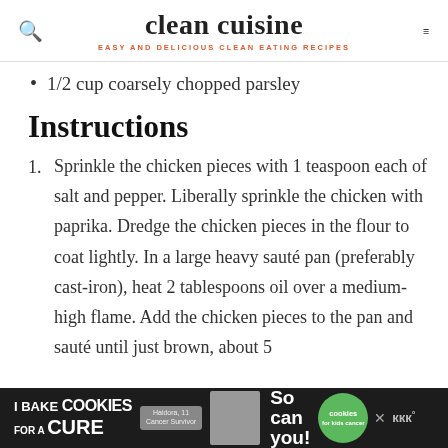clean cuisine — EASY AND DELICIOUS CLEAN EATING RECIPES
1/2 cup coarsely chopped parsley
Instructions
1. Sprinkle the chicken pieces with 1 teaspoon each of salt and pepper. Liberally sprinkle the chicken with paprika. Dredge the chicken pieces in the flour to coat lightly. In a large heavy sauté pan (preferably cast-iron), heat 2 tablespoons oil over a medium-high flame. Add the chicken pieces to the pan and sauté until just brown, about 5
[Figure (other): Advertisement banner: I Bake COOKIES For A CURE — Haidora, 11 Cancer Survivor — So can you! — cookies for kids cancer logo — partial text on right side]